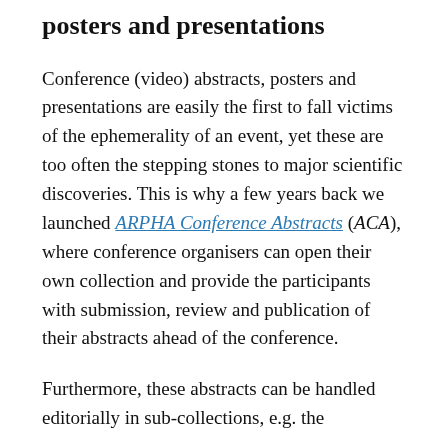posters and presentations
Conference (video) abstracts, posters and presentations are easily the first to fall victims of the ephemerality of an event, yet these are too often the stepping stones to major scientific discoveries. This is why a few years back we launched ARPHA Conference Abstracts (ACA), where conference organisers can open their own collection and provide the participants with submission, review and publication of their abstracts ahead of the conference.
Furthermore, these abstracts can be handled editorially in sub-collections, e.g. the